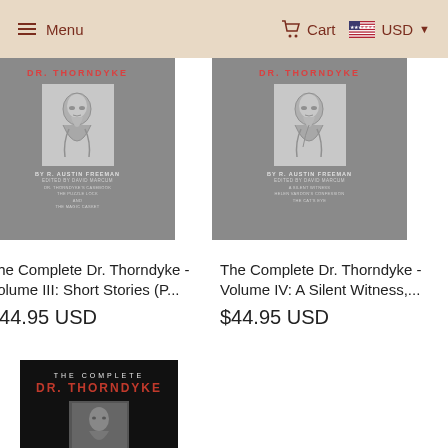Menu  Cart  USD
[Figure (photo): Book cover: The Complete Dr. Thorndyke Volume III, gray cover with red title text and pencil portrait illustration, by R. Austin Freeman]
The Complete Dr. Thorndyke - Volume III: Short Stories (P...
$44.95 USD
[Figure (photo): Book cover: The Complete Dr. Thorndyke Volume IV: A Silent Witness, gray cover with red title text and pencil portrait illustration, by R. Austin Freeman]
The Complete Dr. Thorndyke - Volume IV: A Silent Witness,...
$44.95 USD
[Figure (photo): Book cover: The Complete Dr. Thorndyke, black cover with red title text and portrait photograph]